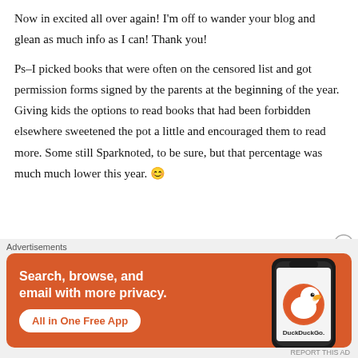Now in excited all over again! I'm off to wander your blog and glean as much info as I can! Thank you!
Ps–I picked books that were often on the censored list and got permission forms signed by the parents at the beginning of the year. Giving kids the options to read books that had been forbidden elsewhere sweetened the pot a little and encouraged them to read more. Some still Sparknoted, to be sure, but that percentage was much much lower this year. 😊
Advertisements
[Figure (infographic): DuckDuckGo advertisement banner with orange background. Left side text: 'Search, browse, and email with more privacy.' with 'All in One Free App' button. Right side shows a smartphone with DuckDuckGo logo and wordmark.]